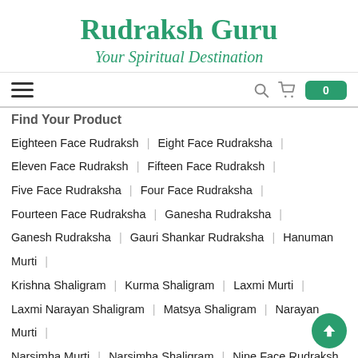Rudraksh Guru
Your Spiritual Destination
[Figure (screenshot): Navigation bar with hamburger menu, search icon, cart icon, and cart count badge showing 0]
Find Your Product
Eighteen Face Rudraksh | Eight Face Rudraksha |
Eleven Face Rudraksh | Fifteen Face Rudraksh |
Five Face Rudraksha | Four Face Rudraksha |
Fourteen Face Rudraksha | Ganesha Rudraksha |
Ganesh Rudraksha | Gauri Shankar Rudraksha | Hanuman Murti |
Krishna Shaligram | Kurma Shaligram | Laxmi Murti |
Laxmi Narayan Shaligram | Matsya Shaligram | Narayan Murti |
Narsimha Murti | Narsimha Shaligram | Nine Face Rudraksh |
One Face Rudraksh | Parad Shivling | Radha Krishna Shaligram |
Rama Shaligram | Seven Face Rudraksha | Shaligram Mala |
Shaligram Pendant | Shree Yantra | Sita Rama Shaligram |